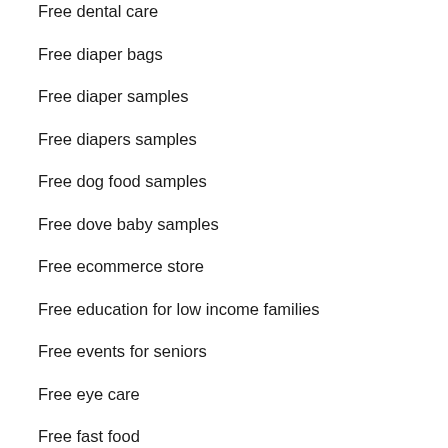Free dental care
Free diaper bags
Free diaper samples
Free diapers samples
Free dog food samples
Free dove baby samples
Free ecommerce store
Free education for low income families
Free events for seniors
Free eye care
Free fast food
Free fast food restaurants
Free food
Free food africa